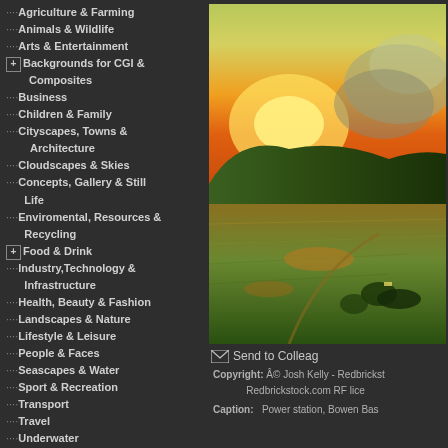Agriculture & Farming
Animals & Wildlife
Arts & Entertainment
[+] Backgrounds for CGI & Composites
Business
Children & Family
Cityscapes, Towns & Architecture
Cloudscapes & Skies
Concepts, Gallery & Still Life
Enviromental, Resources & Recycling
[+] Food & Drink
Industry,Technology & Infrastructure
Health, Beauty & Fashion
Landscapes & Nature
Lifestyle & Leisure
People & Faces
Seascapes & Water
Sport & Recreation
Transport
Travel
Underwater
[Figure (photo): Aerial sunset landscape photo showing a power station near Bowen Basin with green fields and dramatic orange sky]
Send to Colleague
Copyright: © Josh Kelly - Redbrickstock Redbrickstock.com RF lice
Caption: Power station, Bowen Bas